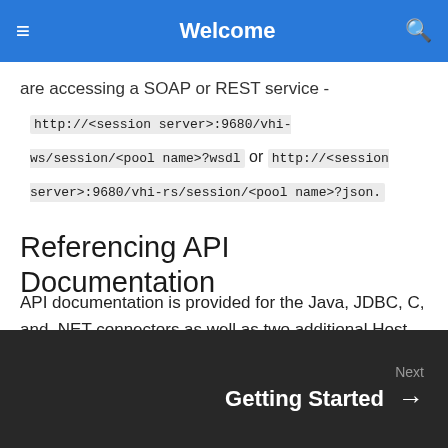Welcome
are accessing a SOAP or REST service - http://<session server>:9680/vhi-ws/session/<pool name>?wsdl or http://<session server>:9680/vhi-rs/session/<pool name>?json.
Referencing API Documentation
API documentation is provided for the Java, JDBC, C, and .NET connectors as well as two additional Host Integrator APIs. See Connectors and APIs for information.
Next  Getting Started →